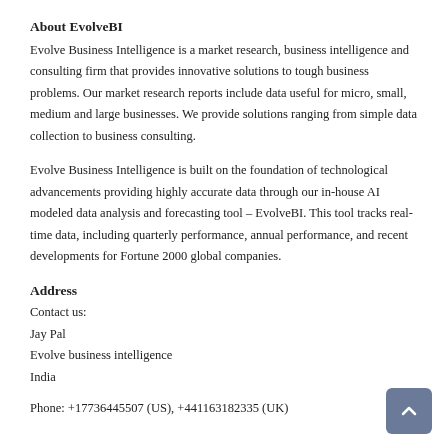About EvolveBI
Evolve Business Intelligence is a market research, business intelligence and consulting firm that provides innovative solutions to tough business problems. Our market research reports include data useful for micro, small, medium and large businesses. We provide solutions ranging from simple data collection to business consulting.
Evolve Business Intelligence is built on the foundation of technological advancements providing highly accurate data through our in-house AI modeled data analysis and forecasting tool – EvolveBI. This tool tracks real-time data, including quarterly performance, annual performance, and recent developments for Fortune 2000 global companies.
Address
Contact us:
Jay Pal
Evolve business intelligence
India
Phone: +17736445507 (US), +441163182335 (UK)